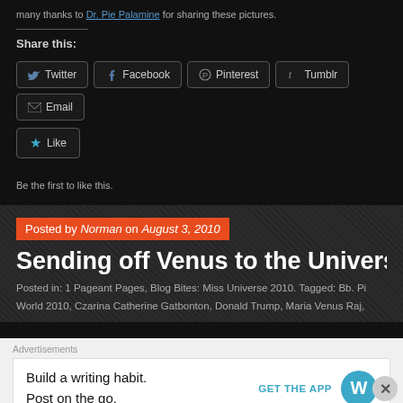many thanks to Dr. Pie Palamine for sharing these pictures.
Share this:
[Figure (screenshot): Social sharing buttons: Twitter, Facebook, Pinterest, Tumblr, Email, Like]
Be the first to like this.
Posted by Norman on August 3, 2010
Sending off Venus to the Universe!
Posted in: 1 Pageant Pages, Blog Bites: Miss Universe 2010. Tagged: Bb. Pi World 2010, Czarina Catherine Gatbonton, Donald Trump, Maria Venus Raj,
Advertisements
Build a writing habit. Post on the go. GET THE APP